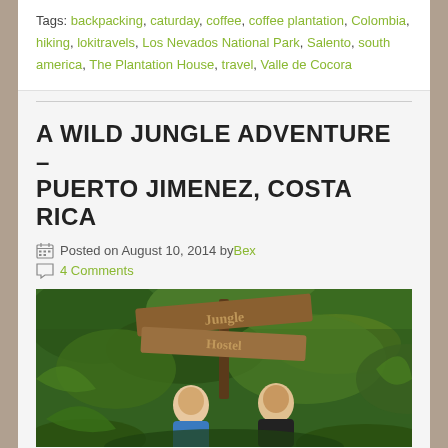Tags: backpacking, caturday, coffee, coffee plantation, Colombia, hiking, lokitravels, Los Nevados National Park, Salento, south america, The Plantation House, travel, Valle de Cocora
A WILD JUNGLE ADVENTURE – PUERTO JIMENEZ, COSTA RICA
Posted on August 10, 2014 by Bex
4 Comments
[Figure (photo): Two people standing under a wooden 'Jungle Hostel' sign surrounded by lush green jungle vegetation in Costa Rica]